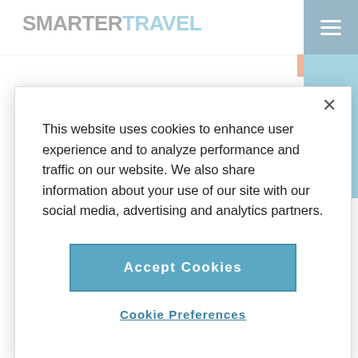SMARTER TRAVEL
This website uses cookies to enhance user experience and to analyze performance and traffic on our website. We also share information about your use of our site with our social media, advertising and analytics partners.
Accept Cookies
Cookie Preferences
CITIES
Jun 13, 2017
Napa Attractions